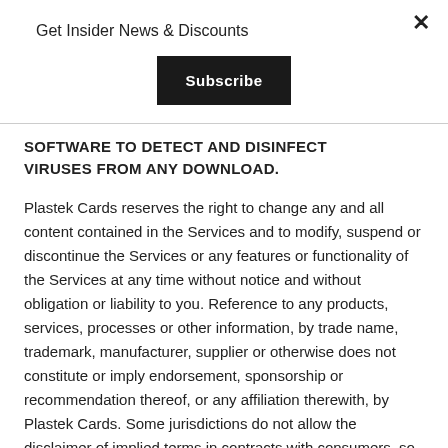Get Insider News & Discounts
Subscribe
SOFTWARE TO DETECT AND DISINFECT VIRUSES FROM ANY DOWNLOAD.
Plastek Cards reserves the right to change any and all content contained in the Services and to modify, suspend or discontinue the Services or any features or functionality of the Services at any time without notice and without obligation or liability to you. Reference to any products, services, processes or other information, by trade name, trademark, manufacturer, supplier or otherwise does not constitute or imply endorsement, sponsorship or recommendation thereof, or any affiliation therewith, by Plastek Cards. Some jurisdictions do not allow the disclaimer of implied terms in contracts with consumers, so some or all of the disclaimers in